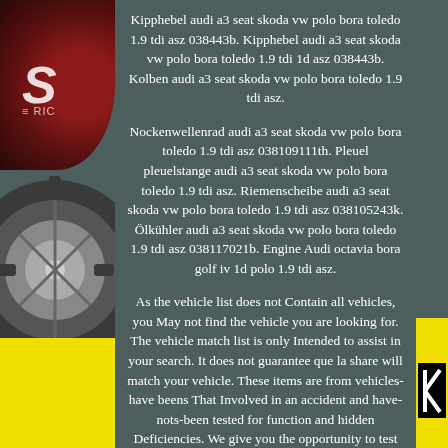Kipphebel audi a3 seat skoda vw polo bora toledo 1.9 tdi asz 038443b. Kipphebel audi a3 seat skoda vw polo bora toledo 1.9 tdi 1d asz 038443b. Kolben audi a3 seat skoda vw polo bora toledo 1.9 tdi asz.
Nockenwellenrad audi a3 seat skoda vw polo bora toledo 1.9 tdi asz 038109111th. Pleuel pleuelstange audi a3 seat skoda vw polo bora toledo 1.9 tdi asz. Riemenscheibe audi a3 seat skoda vw polo bora toledo 1.9 tdi asz 038105243k. Ölkühler audi a3 seat skoda vw polo bora toledo 1.9 tdi asz 038117021b. Engine Audi octavia bora golf iv 1d polo 1.9 tdi asz.
As the vehicle list does not Contain all vehicles, you May not find the vehicle you are looking for. The vehicle match list is only Intended to assist in your search. It does not guarantee que la share will match your vehicle. These items are from vehicles-have beens That Involved in an accident and have-nots-been tested for function and hidden Deficiencies. We give you the opportunity to test the product send it back Within 14 days, to determine if the item is functional.
Please verify the part number in order to Ensure the hand being white ordered is the right model for your vehicle. Our staffs are always available to help and Provide you